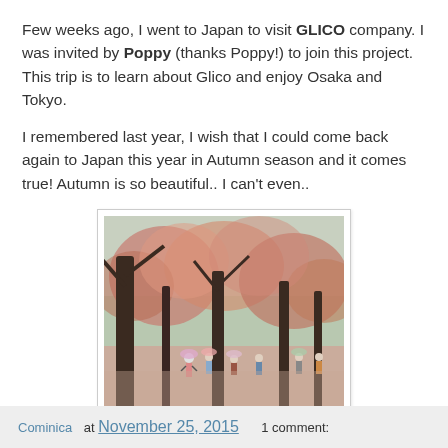Few weeks ago, I went to Japan to visit GLICO company. I was invited by Poppy (thanks Poppy!) to join this project. This trip is to learn about Glico and enjoy Osaka and Tokyo.
I remembered last year, I wish that I could come back again to Japan this year in Autumn season and it comes true! Autumn is so beautiful.. I can't even..
[Figure (photo): Autumn scene in a Japanese park with cherry/autumn trees lining a path, people walking with umbrellas on a rainy day, pink and orange foliage on the trees.]
Cominica at November 25, 2015    1 comment: